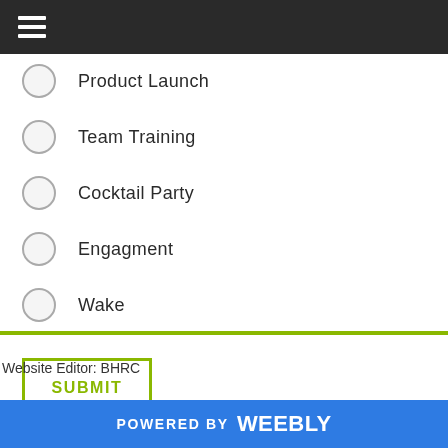☰ (hamburger menu)
Product Launch
Team Training
Cocktail Party
Engagment
Wake
SUBMIT
Website Editor: BHRC
POWERED BY weebly